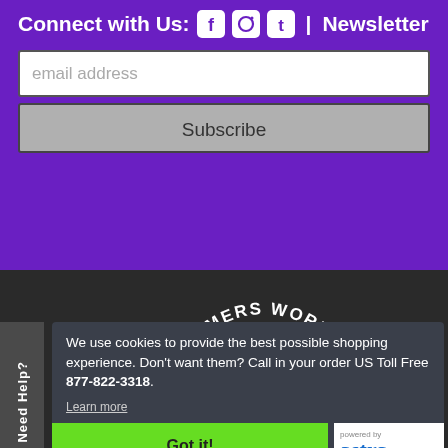Connect with Us: [Facebook] [Instagram] [Twitter] | Newsletter
email address
Subscribe
[Figure (logo): CUSTOMERS WORLD arched text logo on dark background]
Need Help?
We use cookies to provide the best possible shopping experience. Don't want them? Call in your order US Toll Free 877-822-3318.
Learn more
Got it!
[Figure (logo): powered by astra logo]